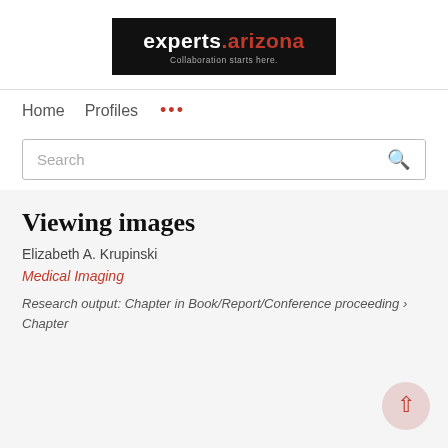[Figure (logo): experts.arizona logo — black background with white text 'experts.' and red text 'arizona', tagline 'Collaboration starts here.']
Home   Profiles   ...
Search
Viewing images
Elizabeth A. Krupinski
Medical Imaging
Research output: Chapter in Book/Report/Conference proceeding › Chapter